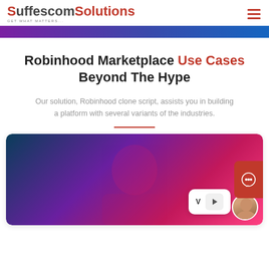Suffescom Solutions - GET WHAT MATTERS...
Robinhood Marketplace Use Cases Beyond The Hype
Our solution, Robinhood clone script, assists you in building a platform with several variants of the industries.
[Figure (photo): Woman wearing headphones in neon purple/pink lighting with a YouTube-style play button overlay and a smiling woman avatar bubble]